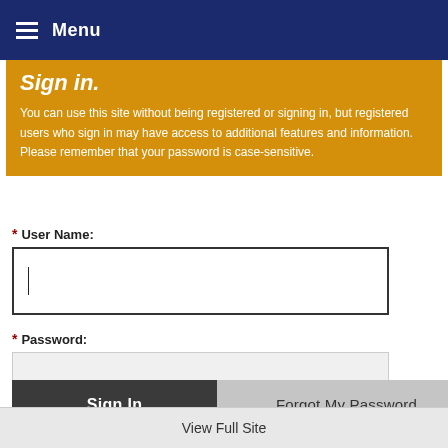Menu
Sign in.
You can use this site without being registered or signing in, but registered users who sign in may have access to additional features and information. Please remember that your password is case-sensitive.
* User Name:
* Password:
Sign In
Forgot My Password
View Full Site